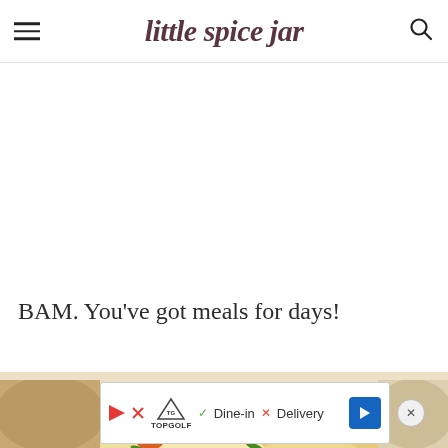little spice jar
BAM. You’ve got meals for days!
[Figure (photo): A red baking dish filled with enchiladas topped with melted cheese and chopped green onions, with a glass jar and herbs in the background]
[Figure (other): TopGolf advertisement bar showing Dine-in and Delivery options with navigation arrow]